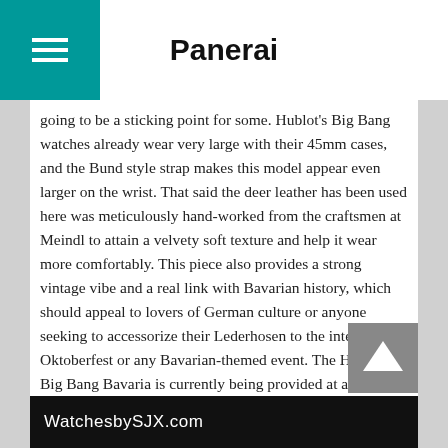Panerai
going to be a sticking point for some. Hublot's Big Bang watches already wear very large with their 45mm cases, and the Bund style strap makes this model appear even larger on the wrist. That said the deer leather has been used here was meticulously hand-worked from the craftsmen at Meindl to attain a velvety soft texture and help it wear more comfortably. This piece also provides a strong vintage vibe and a real link with Bavarian history, which should appeal to lovers of German culture or anyone seeking to accessorize their Lederhosen to the intense for Oktoberfest or any Bavarian-themed event. The Hublot Big Bang Bavaria is currently being provided at a limited edition run of 100 bits, with a price of $27,900.
Inspired by the hybrid LaFerrari supercar, the Hublot MP-05 LaFerrari is a superwatch. It has a transverse movement shaped like a car engine, with a vertical tourbillon at one end, and a record-breaking 50 day power reserve.
[Figure (screenshot): WatchesbySJX.com logo/watermark on black background]